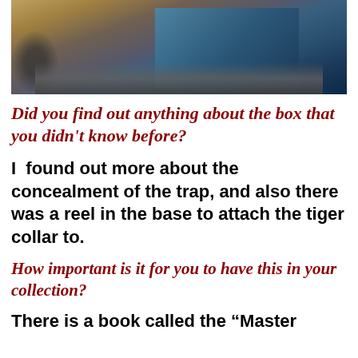[Figure (photo): Photograph of a metal box/trap with a blue interior, sitting on a brown floor, viewed from above at an angle.]
Did you find out anything about the box that you didn't know before?
I  found out more about the concealment of the trap, and also there was a reel in the base to attach the tiger collar to.
How important is it for you to have this in your collection?
There is a book called the “Master